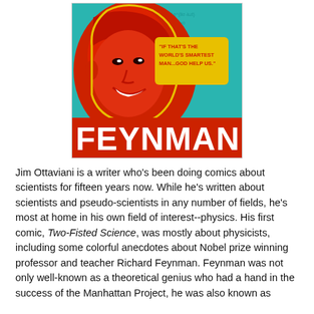[Figure (illustration): Book cover for 'Feynman' graphic novel. A stylized illustration showing a red-toned caricature of Richard Feynman's face on a teal background with mathematical equations. The title 'FEYNMAN' appears in large white letters at the bottom. A yellow speech bubble reads: 'IF THAT'S THE WORLD'S SMARTEST MAN...GOD HELP US.']
Jim Ottaviani is a writer who's been doing comics about scientists for fifteen years now. While he's written about scientists and pseudo-scientists in any number of fields, he's most at home in his own field of interest--physics. His first comic, Two-Fisted Science, was mostly about physicists, including some colorful anecdotes about Nobel prize winning professor and teacher Richard Feynman. Feynman was not only well-known as a theoretical genius who had a hand in the success of the Manhattan Project, he was also known as